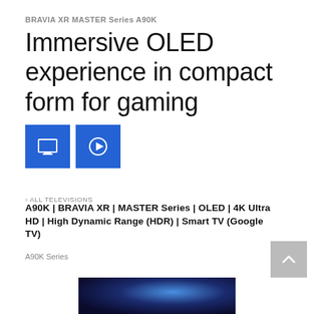BRAVIA XR MASTER Series A90K
Immersive OLED experience in compact form for gaming
[Figure (other): Two blue square icon buttons: a screen/compare icon and a play/video icon]
‹ ALL TELEVISIONS
A90K | BRAVIA XR | MASTER Series | OLED | 4K Ultra HD | High Dynamic Range (HDR) | Smart TV (Google TV)
A90K Series
[Figure (other): Scroll-to-top button (upward chevron arrow on gray background)]
[Figure (photo): Partial image of a Sony BRAVIA TV displaying a vivid blue fantasy/gaming scene]